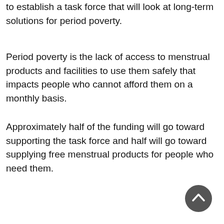to establish a task force that will look at long-term solutions for period poverty.
Period poverty is the lack of access to menstrual products and facilities to use them safely that impacts people who cannot afford them on a monthly basis.
Approximately half of the funding will go toward supporting the task force and half will go toward supplying free menstrual products for people who need them.
[Figure (other): A circular dark gray back-to-top button with an upward-pointing chevron arrow, positioned in the bottom-right corner of the page.]